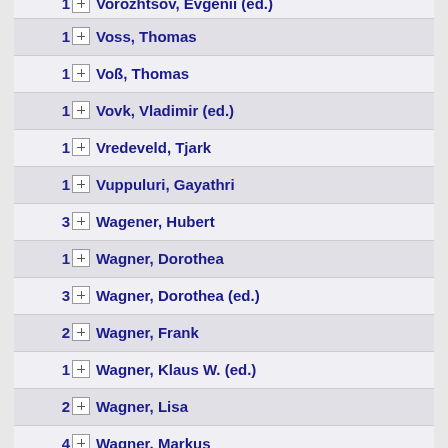1 Vorozhtsov, Evgenii (ed.)
1 Voss, Thomas
1 Voß, Thomas
1 Vovk, Vladimir (ed.)
1 Vredeveld, Tjark
1 Vuppuluri, Gayathri
3 Wagener, Hubert
1 Wagner, Dorothea
3 Wagner, Dorothea (ed.)
2 Wagner, Frank
1 Wagner, Klaus W. (ed.)
2 Wagner, Lisa
4 Wagner, Markus
25 Wahlström, Magnus
2 Wahl, Jürgen
2 Wahl, Michaela
1 Waldmann, Uwe
3 Walsh, Toby (ed.)
1 Walukiewicz, Igor (ed.)
1 Wang, Junxian (ed.)
2 Wang, Lusheng (ed.)
2 Wang, Pengming